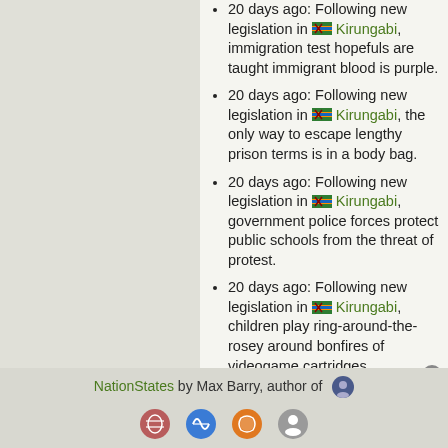20 days ago: Following new legislation in Kirungabi, immigration test hopefuls are taught immigrant blood is purple.
20 days ago: Following new legislation in Kirungabi, the only way to escape lengthy prison terms is in a body bag.
20 days ago: Following new legislation in Kirungabi, government police forces protect public schools from the threat of protest.
20 days ago: Following new legislation in Kirungabi, children play ring-around-the-rosey around bonfires of videogame cartridges.
More...
Report
NationStates by Max Barry, author of